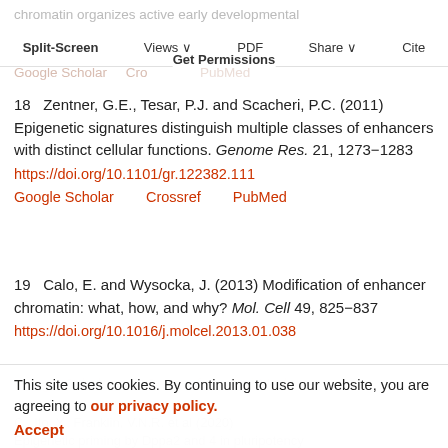chromatin organizes active early developmental enhancers in humans. Nature 470, 279–285 https://doi.org/10.1038/nature09692 Google Scholar  Crossref  PubMed
Split-Screen  Views  PDF  Share  Cite  Get Permissions
18  Zentner, G.E., Tesar, P.J. and Scacheri, P.C. (2011) Epigenetic signatures distinguish multiple classes of enhancers with distinct cellular functions. Genome Res. 21, 1273–1283 https://doi.org/10.1101/gr.122382.111 Google Scholar  Crossref  PubMed
19  Calo, E. and Wysocka, J. (2013) Modification of enhancer chromatin: what, how, and why? Mol. Cell 49, 825–837 https://doi.org/10.1016/j.molcel.2013.01.038 Google Scholar  Crossref  PubMed
This site uses cookies. By continuing to use our website, you are agreeing to our privacy policy. Accept
20  Maclean, A., Bhute, V.J., Bhattacharya, S., Bhattacharya, J., Pahlberg, J., Bhattacharya, M., C., Ito, Y., Franklin, V.N.R. et al (2020) Epigenetic priming by Dppa2 and 4 in pluripotency